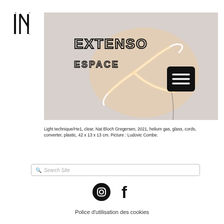[Figure (logo): IN Art Space logo with stylized letters I and N]
[Figure (photo): Neon light artwork in shape of a bird/animal outline glowing warm white against grey wall, with EXTENSO art space logo overlay and hamburger menu button]
Light technique/He1, clear, Nat Bloch Gregersen, 2021, helium gas, glass, cords, converter, plastic, 42 x 13 x 13 cm. Picture : Ludovic Combe.
Search Site
[Figure (infographic): Instagram and Facebook social media icons]
Police d'utilisation des cookies